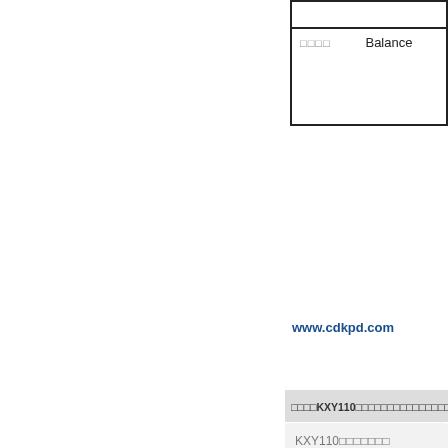| □□□□ | Balance |
| --- | --- |
|  |  |
www.cdkpd.com
□□□□KXY110□□□□□□□□□□□□□□□□□□□□□□□□□□□
KXY110□□□□□□□
□□□□□□□□□
□□□□□□□□
□□□□□□□□□